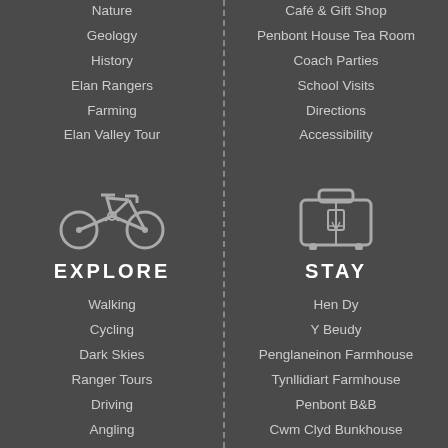Nature
Geology
History
Elan Rangers
Farming
Elan Valley Tour
Café & Gift Shop
Penbont House Tea Room
Coach Parties
School Visits
Directions
Accessibility
[Figure (illustration): Bicycle icon]
EXPLORE
Walking
Cycling
Dark Skies
Ranger Tours
Driving
Angling
Drones
[Figure (illustration): Luggage/suitcase icon]
STAY
Hen Dy
Y Beudy
Penglaneinon Farmhouse
Tynllidiart Farmhouse
Penbont B&B
Cwm Clyd Bunkhouse